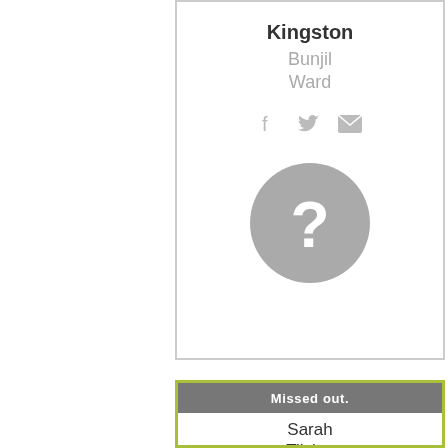Kingston
Bunjil
Ward
[Figure (illustration): Gray circle with white question mark, representing a candidate profile photo placeholder]
Missed out.
Sarah Tilsley